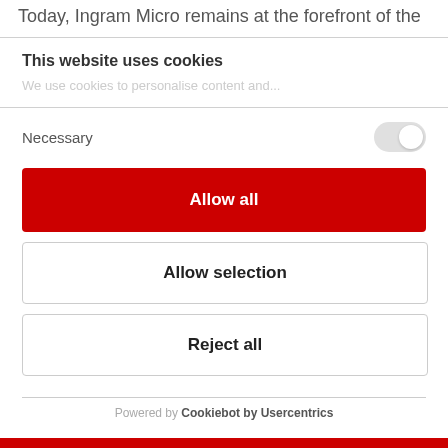Today, Ingram Micro remains at the forefront of the
This website uses cookies
We use cookies to personalise content and...
Necessary
Allow all
Allow selection
Reject all
Powered by Cookiebot by Usercentrics